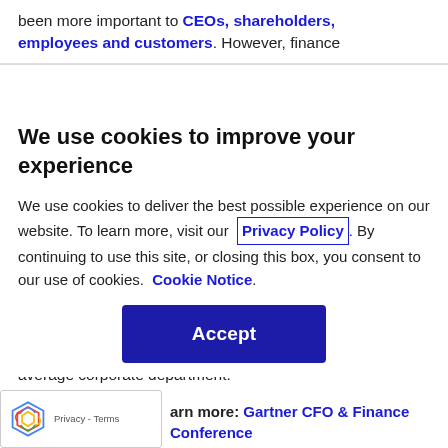been more important to CEOs, shareholders, employees and customers. However, finance
We use cookies to improve your experience
We use cookies to deliver the best possible experience on our website. To learn more, visit our Privacy Policy. By continuing to use this site, or closing this box, you consent to our use of cookies. Cookie Notice.
Accept
average corporate department.
Learn more: Gartner CFO & Finance Conference